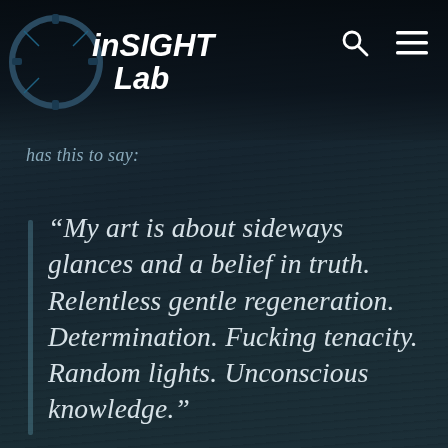[Figure (logo): inSIGHT Lab logo with gear/camera lens graphic on dark background, with search and menu icons in top right]
has this to say:
“My art is about sideways glances and a belief in truth. Relentless gentle regeneration. Determination. Fucking tenacity. Random lights. Unconscious knowledge.”